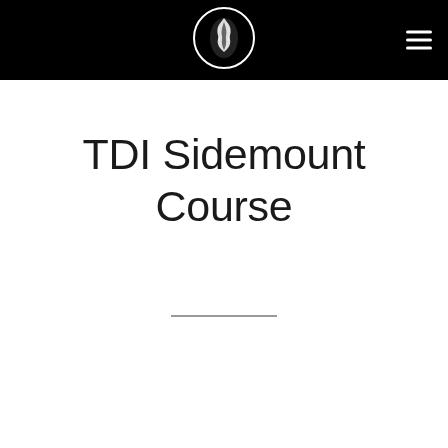[Figure (logo): Circular logo with white border on black header bar, containing a stylized illustration (appears to be a marine/creature motif in white on dark background)]
TDI Sidemount Course